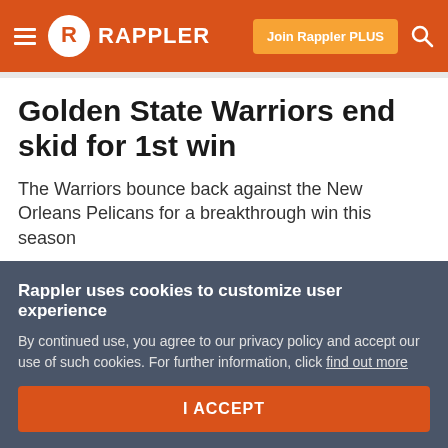Rappler — Join Rappler PLUS
Golden State Warriors end skid for 1st win
The Warriors bounce back against the New Orleans Pelicans for a breakthrough win this season
Agence France-Presse @afp
Published 12:11 PM, October 29, 2019
Updated 12:11 PM, October 29, 2019
Rappler uses cookies to customize user experience
By continued use, you agree to our privacy policy and accept our use of such cookies. For further information, click find out more
I ACCEPT